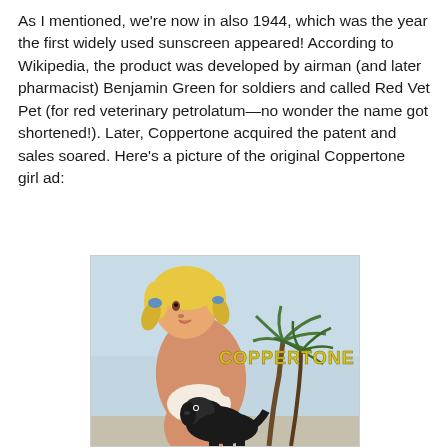As I mentioned, we're now in also 1944, which was the year the first widely used sunscreen appeared!  According to Wikipedia, the product was developed by airman (and later pharmacist) Benjamin Green for soldiers and called Red Vet Pet (for red veterinary petrolatum—no wonder the name got shortened!).  Later, Coppertone acquired the patent and sales soared.  Here's a picture of the original Coppertone girl ad:
[Figure (illustration): Vintage Coppertone advertisement showing a young blonde girl in pigtails looking back over her shoulder, with a black dog pulling down her swimsuit bottom to reveal a tan line. A palm tree is visible in the background. The word COPPERTONE appears in yellow text. Light blue sky background.]